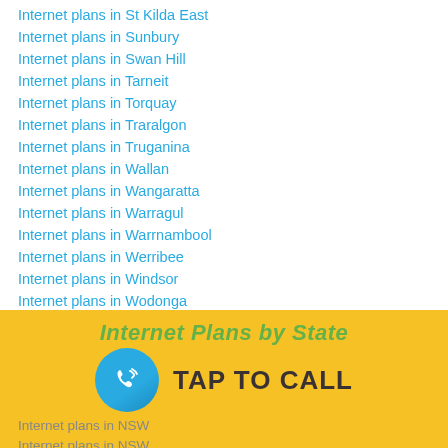Internet plans in St Kilda East
Internet plans in Sunbury
Internet plans in Swan Hill
Internet plans in Tarneit
Internet plans in Torquay
Internet plans in Traralgon
Internet plans in Truganina
Internet plans in Wallan
Internet plans in Wangaratta
Internet plans in Warragul
Internet plans in Warrnambool
Internet plans in Werribee
Internet plans in Windsor
Internet plans in Wodonga
Internet plans in Yarraville
Internet plans in Yuroke
Internet Plans by State
[Figure (infographic): TAP TO CALL button with phone icon circle on yellow background]
Internet plans in NSW
Internet plans in NSW